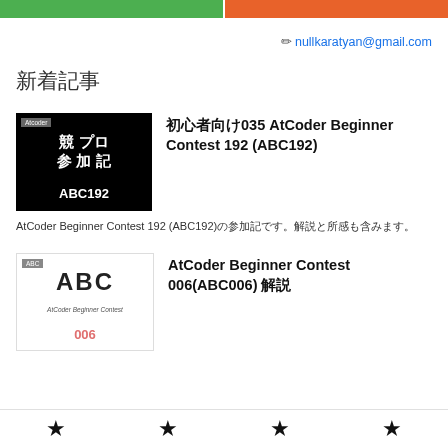[Figure (other): Two colored nav buttons at top: green left, orange right]
✏ nullkaratyan@gmail.com
新着記事
[Figure (illustration): Thumbnail: black background with AtCoder label, 競プロ参加記 ABC192 text]
初心者向け035 AtCoder Beginner Contest 192 (ABC192)
AtCoder Beginner Contest 192 (ABC192)の参加記です。解説と所感も含みます。
[Figure (illustration): Thumbnail: white background with ABC tag, large ABC letters, AtCoder Beginner Contest label, 006 in pink]
AtCoder Beginner Contest 006(ABC006) 解説
[Figure (other): Bottom navigation bar with four star icons]